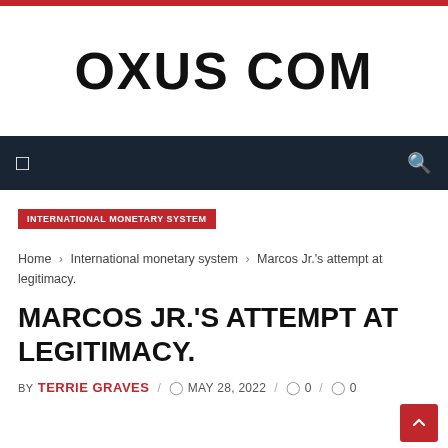OXUS COM
INTERNATIONAL MONETARY SYSTEM
Home › International monetary system › Marcos Jr.'s attempt at legitimacy.
MARCOS JR.'S ATTEMPT AT LEGITIMACY.
BY TERRIE GRAVES / MAY 28, 2022 / 0 / 0